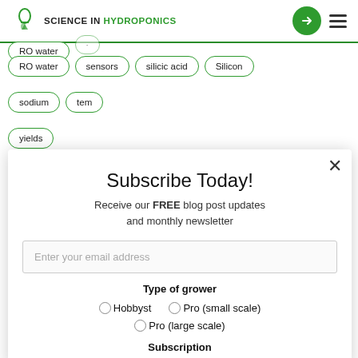[Figure (logo): Science in Hydroponics logo with flask icon]
RO water
sensors
silicic acid
Silicon
sodium
tem[perature] (partial)
yields
Categories
Select Category
View pos[ts]
Subscribe Today!
Receive our FREE blog post updates and monthly newsletter
Enter your email address
Type of grower
Hobbyst
Pro (small scale)
Pro (large scale)
Subscription